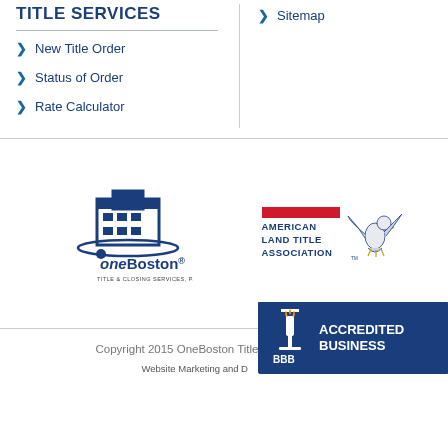TITLE SERVICES
New Title Order
Status of Order
Rate Calculator
Sitemap
[Figure (logo): oneBoston Title & Closing Services P.C. logo with blue building graphic and arc]
[Figure (logo): American Land Title Association logo with red bar, text, and eagle emblem]
Copyright 2015 OneBoston Title & Closing Service
[Figure (logo): BBB Accredited Business badge with torch icon on dark blue background]